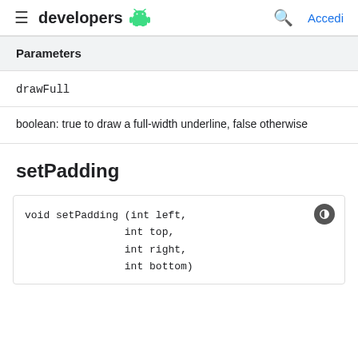developers [android logo]    [search] Accedi
Parameters
drawFull
boolean: true to draw a full-width underline, false otherwise
setPadding
void setPadding (int left,
                int top,
                int right,
                int bottom)